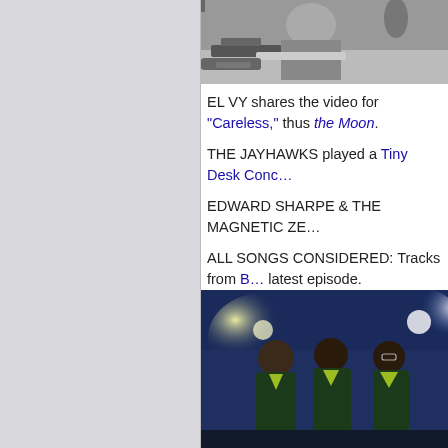[Figure (photo): Black and white photo of a person at a desk, partially cropped at top of right panel]
EL VY shares the video for "Careless," thus the Moon.
THE JAYHAWKS played a Tiny Desk Conc…
EDWARD SHARPE & THE MAGNETIC ZE…
ALL SONGS CONSIDERED: Tracks from B… latest episode.
MATT "MV" VALENTINE covers Big Star's…
[Figure (photo): Color photo of performers on stage with blue background and stage lights, wearing dark suits with yellow/green accents]